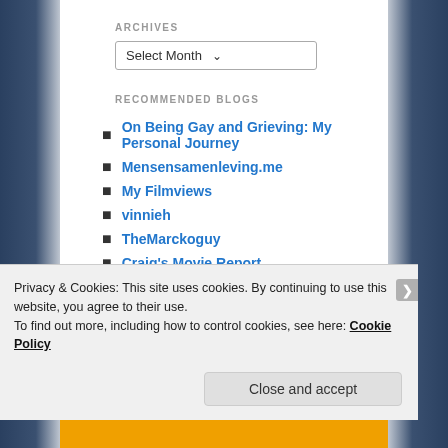ARCHIVES
Select Month
RECOMMENDED BLOGS
On Being Gay and Grieving: My Personal Journey
Mensensamenleving.me
My Filmviews
vinnieh
TheMarckoguy
Craig's Movie Report
Experience Film
Nerd Lowdown
Funkie House of Geekery (partial)
Privacy & Cookies: This site uses cookies. By continuing to use this website, you agree to their use.
To find out more, including how to control cookies, see here: Cookie Policy
Close and accept